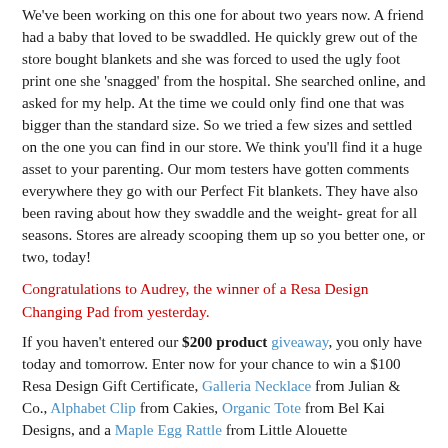We've been working on this one for about two years now. A friend had a baby that loved to be swaddled. He quickly grew out of the store bought blankets and she was forced to used the ugly foot print one she 'snagged' from the hospital. She searched online, and asked for my help. At the time we could only find one that was bigger than the standard size. So we tried a few sizes and settled on the one you can find in our store. We think you'll find it a huge asset to your parenting. Our mom testers have gotten comments everywhere they go with our Perfect Fit blankets. They have also been raving about how they swaddle and the weight- great for all seasons. Stores are already scooping them up so you better one, or two, today!
Congratulations to Audrey, the winner of a Resa Design Changing Pad from yesterday.
If you haven't entered our $200 product giveaway, you only have today and tomorrow. Enter now for your chance to win a $100 Resa Design Gift Certificate, Galleria Necklace from Julian & Co., Alphabet Clip from Cakies, Organic Tote from Bel Kai Designs, and a Maple Egg Rattle from Little Alouette